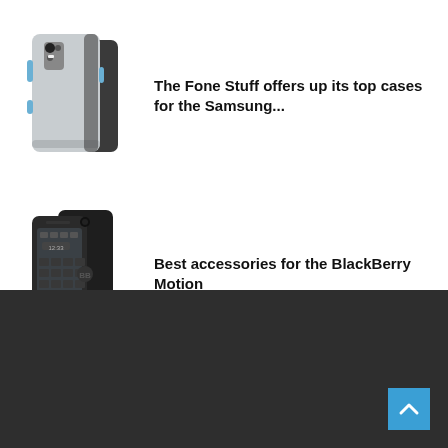[Figure (photo): Samsung phone case - silver/black dual-layer protective case for Samsung Galaxy S9+]
The Fone Stuff offers up its top cases for the Samsung...
[Figure (photo): BlackBerry Motion smartphone - black with front and back view]
Best accessories for the BlackBerry Motion
[Figure (other): Dark footer section with scroll-to-top button (blue arrow up icon)]